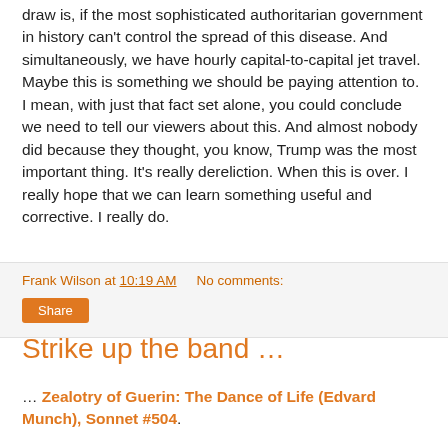draw is, if the most sophisticated authoritarian government in history can't control the spread of this disease. And simultaneously, we have hourly capital-to-capital jet travel. Maybe this is something we should be paying attention to. I mean, with just that fact set alone, you could conclude we need to tell our viewers about this. And almost nobody did because they thought, you know, Trump was the most important thing. It's really dereliction. When this is over. I really hope that we can learn something useful and corrective. I really do.
Frank Wilson at 10:19 AM   No comments:
Share
Strike up the band …
… Zealotry of Guerin: The Dance of Life (Edvard Munch), Sonnet #504.